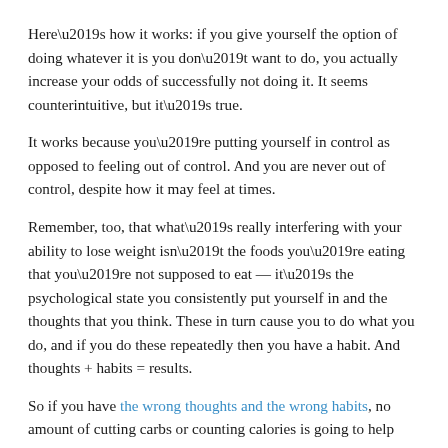Here’s how it works: if you give yourself the option of doing whatever it is you don’t want to do, you actually increase your odds of successfully not doing it. It seems counterintuitive, but it’s true.
It works because you’re putting yourself in control as opposed to feeling out of control. And you are never out of control, despite how it may feel at times.
Remember, too, that what’s really interfering with your ability to lose weight isn’t the foods you’re eating that you’re not supposed to eat — it’s the psychological state you consistently put yourself in and the thoughts that you think. These in turn cause you to do what you do, and if you do these repeatedly then you have a habit. And thoughts + habits = results.
So if you have the wrong thoughts and the wrong habits, no amount of cutting carbs or counting calories is going to help you because you don’t have a success-promoting foundation to build on. And then you’re just creating more work for yourself by trying “not to” and adding resistance to the mix.
You have to shift your thinking, and this simple psychological tactic — giving yourself an out — can help you break out of